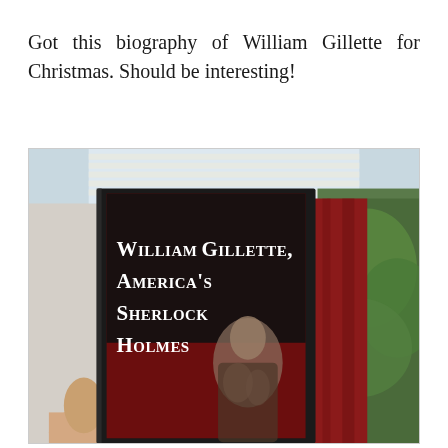Got this biography of William Gillette for Christmas. Should be interesting!
[Figure (photo): A hand holding up a book titled 'William Gillette, America's Sherlock Holmes' against a window with red curtains and green foliage visible outside. The book cover features a sepia-toned portrait of a man in period costume.]